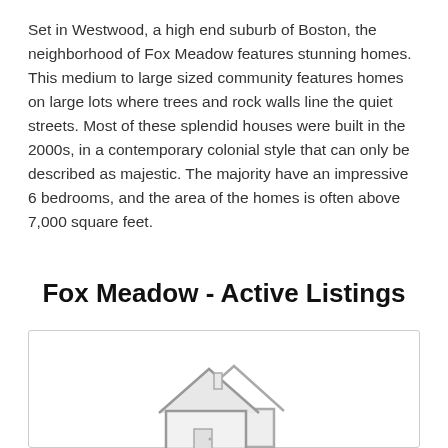Set in Westwood, a high end suburb of Boston, the neighborhood of Fox Meadow features stunning homes. This medium to large sized community features homes on large lots where trees and rock walls line the quiet streets. Most of these splendid houses were built in the 2000s, in a contemporary colonial style that can only be described as majestic. The majority have an impressive 6 bedrooms, and the area of the homes is often above 7,000 square feet.
Fox Meadow - Active Listings
[Figure (illustration): House icon placeholder inside a bordered listing card box]